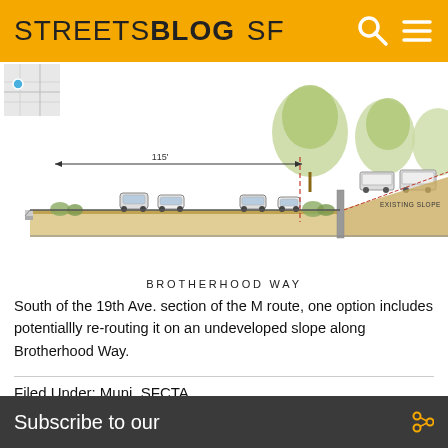STREETSBLOG SF
[Figure (engineering-diagram): Cross-section engineering diagram showing Brotherhood Way street profile with 115' width marker, trees, vehicles, and existing slope annotation on the right side. A map thumbnail appears in the upper left corner.]
BROTHERHOOD WAY
South of the 19th Ave. section of the M route, one option includes potentiallly re-routing it on an undeveloped slope along Brotherhood Way.
Filed Under: Muni, SFCTA
Subscribe to our